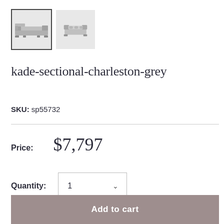[Figure (photo): Two thumbnail images of the kade sectional sofa in charleston grey. First thumbnail is selected (with border), showing a front/side view of the sectional. Second thumbnail shows a closer angled view.]
kade-sectional-charleston-grey
SKU: sp55732
Price: $7,797
Quantity: 1
Add to cart